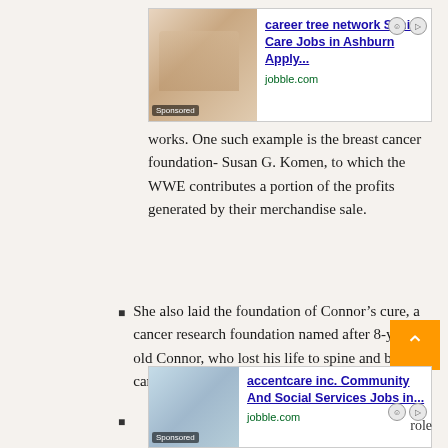[Figure (photo): Sponsored advertisement banner for career tree network Senior Care Jobs in Ashburn. Shows image of people on left side with 'Sponsored' badge, ad title in blue bold text, and jobble.com domain.]
works. One such example is the breast cancer foundation- Susan G. Komen, to which the WWE contributes a portion of the profits generated by their merchandise sale.
She also laid the foundation of Connor's cure, a cancer research foundation named after 8-year-old Connor, who lost his life to spine and brain cancer.
[Figure (photo): Photo of a woman, a child (Connor), and a man posing together indoors.]
[Figure (photo): Sponsored advertisement banner for accentcare inc. Community And Social Services Jobs in... Shows image of people on left with 'Sponsored' badge, ad title in blue bold text, and jobble.com domain.]
role